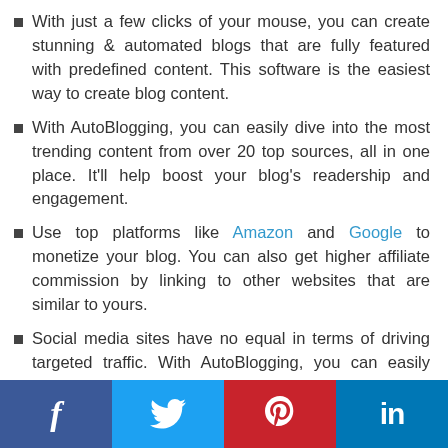With just a few clicks of your mouse, you can create stunning & automated blogs that are fully featured with predefined content. This software is the easiest way to create blog content.
With AutoBlogging, you can easily dive into the most trending content from over 20 top sources, all in one place. It'll help boost your blog's readership and engagement.
Use top platforms like Amazon and Google to monetize your blog. You can also get higher affiliate commission by linking to other websites that are similar to yours.
Social media sites have no equal in terms of driving targeted traffic. With AutoBlogging, you can easily share your content across all the major social media platforms.
Facebook Twitter Pinterest LinkedIn